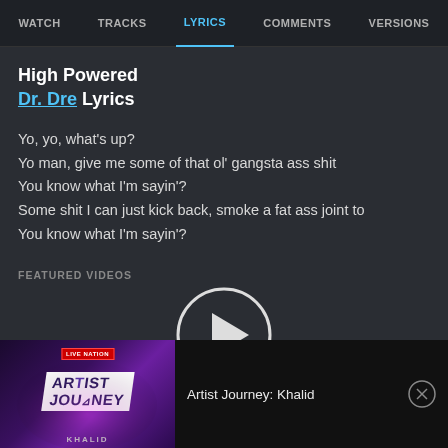WATCH  TRACKS  LYRICS  COMMENTS  VERSIONS
High Powered
Dr. Dre Lyrics
Yo, yo, what's up?
Yo man, give me some of that ol' gangsta ass shit
You know what I'm sayin'?
Some shit I can just kick back, smoke a fat ass joint to
You know what I'm sayin'?
FEATURED VIDEOS
[Figure (screenshot): Video thumbnail showing Artist Journey: Khalid with Live Nation branding, play button circle overlay visible at top]
Artist Journey: Khalid